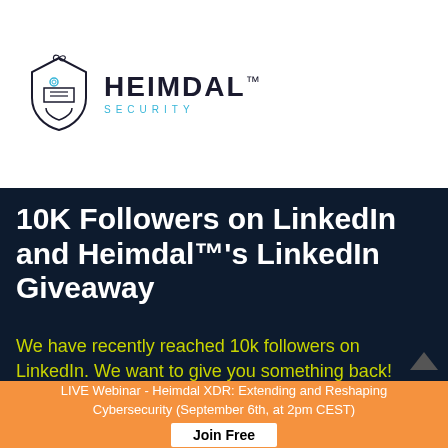[Figure (logo): Heimdal Security logo with stylized knight helmet SVG icon in line art style and brand name HEIMDAL with TM mark and SECURITY subtitle in cyan]
10K Followers on LinkedIn and Heimdal™'s LinkedIn Giveaway
We have recently reached 10k followers on LinkedIn. We want to give you something back!
LIVE Webinar - Heimdal XDR: Extending and Reshaping Cybersecurity (September 6th, at 2pm CEST)
Join Free